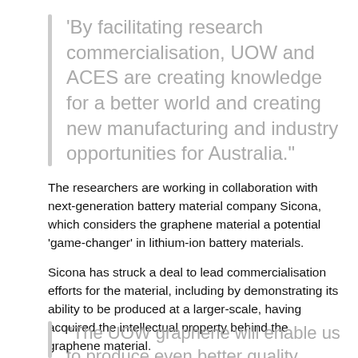‘By facilitating research commercialisation, UOW and ACES are creating knowledge for a better world and creating new manufacturing and industry opportunities for Australia.”
The researchers are working in collaboration with next-generation battery material company Sicona, which considers the graphene material a potential ‘game-changer’ in lithium-ion battery materials.
Sicona has struck a deal to lead commercialisation efforts for the material, including by demonstrating its ability to be produced at a larger-scale, having acquired the intellectual property behind the graphene material.
“The UOW graphene will enable us to produce even better quality